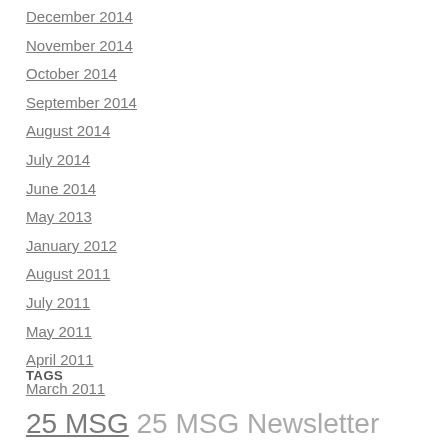December 2014
November 2014
October 2014
September 2014
August 2014
July 2014
June 2014
May 2013
January 2012
August 2011
July 2011
May 2011
April 2011
March 2011
TAGS
25 MSG 25 MSG Newsletter